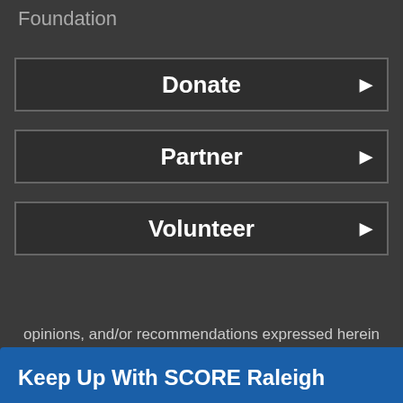Foundation
Donate
Partner
Volunteer
[Figure (screenshot): A popup modal with blue background titled 'Keep Up With SCORE Raleigh' containing descriptive text, an email address input field, and a SUBMIT button. A close (×) button is in the top right.]
opinions, and/or recommendations expressed herein are those of the author(s) and do not necessarily reflect the views of the SBA.